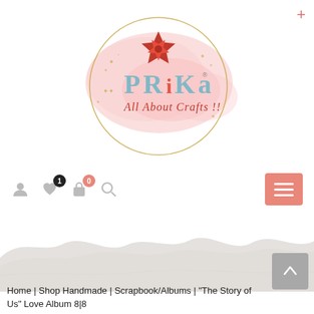[Figure (logo): Prika All About Crafts logo: circular gold border with pink watercolor splash background, red star flower, and text 'PRiKa' in decorative font with subtitle 'All About Crafts !!']
[Figure (illustration): Navigation bar with user icon, heart icon with badge '1', bag icon with badge '0', search icon, and salmon/coral hamburger menu button on the right]
[Figure (illustration): Torn paper / gray mountain silhouette decorative divider element]
Home | Shop Handmade | Scrapbook/Albums | "The Story of Us" Love Album 8|8